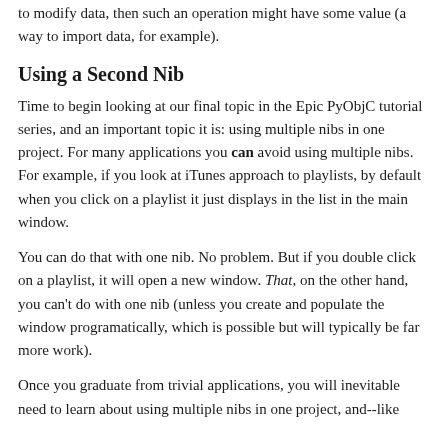to modify data, then such an operation might have some value (a way to import data, for example).
Using a Second Nib
Time to begin looking at our final topic in the Epic PyObjC tutorial series, and an important topic it is: using multiple nibs in one project. For many applications you can avoid using multiple nibs. For example, if you look at iTunes approach to playlists, by default when you click on a playlist it just displays in the list in the main window.
You can do that with one nib. No problem. But if you double click on a playlist, it will open a new window. That, on the other hand, you can't do with one nib (unless you create and populate the window programatically, which is possible but will typically be far more work).
Once you graduate from trivial applications, you will inevitable need to learn about using multiple nibs in one project, and--like